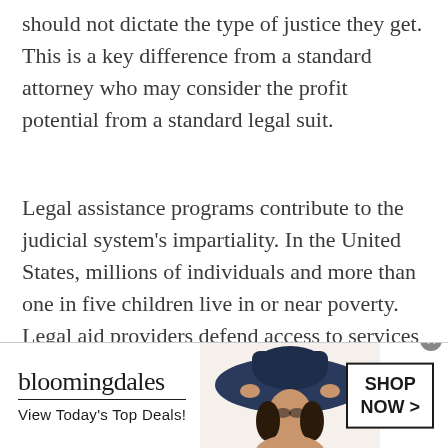should not dictate the type of justice they get. This is a key difference from a standard attorney who may consider the profit potential from a standard legal suit.
Legal assistance programs contribute to the judicial system's impartiality. In the United States, millions of individuals and more than one in five children live in or near poverty. Legal aid providers defend access to services for individuals of various backgrounds, including children, veterans, domestic abuse victims, the elderly, and those living with disabilities.
[Figure (other): Bloomingdale's advertisement banner with logo, tagline 'View Today's Top Deals!', image of woman in wide-brim hat, and 'SHOP NOW >' button]